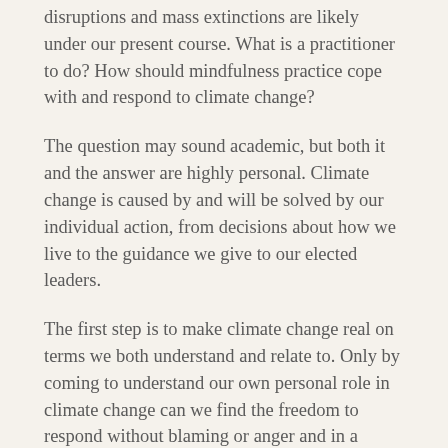disruptions and mass extinctions are likely under our present course. What is a practitioner to do? How should mindfulness practice cope with and respond to climate change?
The question may sound academic, but both it and the answer are highly personal. Climate change is caused by and will be solved by our individual action, from decisions about how we live to the guidance we give to our elected leaders.
The first step is to make climate change real on terms we both understand and relate to. Only by coming to understand our own personal role in climate change can we find the freedom to respond without blaming or anger and in a manner that invites our neighbors to join us in responding constructively.
The second step is to see all the opportunities that are